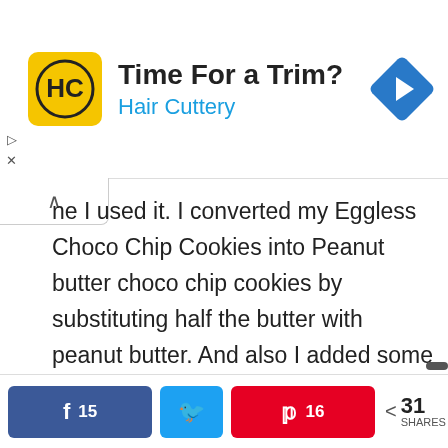[Figure (advertisement): Hair Cuttery advertisement banner with yellow logo, 'Time For a Trim?' headline, 'Hair Cuttery' subtitle in blue, and blue diamond navigation arrow on right.]
ne I used it. I converted my Eggless Choco Chip Cookies into Peanut butter choco chip cookies by substituting half the butter with peanut butter. And also I added some extra choco chips for my daughter. While baking cookies, it is really important to know when to remove them from oven. If you remove them after they become firm, they would be too hard once they cool down because cookies continue cooking even after you remove them out of
[Figure (infographic): Social sharing bar with Facebook button showing 15, Twitter button, Pinterest button showing 16, and share count of 31 SHARES.]